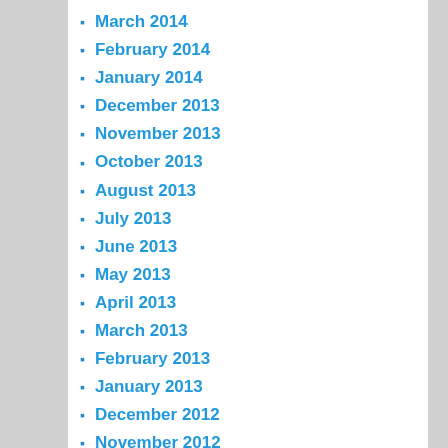March 2014
February 2014
January 2014
December 2013
November 2013
October 2013
August 2013
July 2013
June 2013
May 2013
April 2013
March 2013
February 2013
January 2013
December 2012
November 2012
October 2012
September 2012
August 2012
July 2012
June 2012